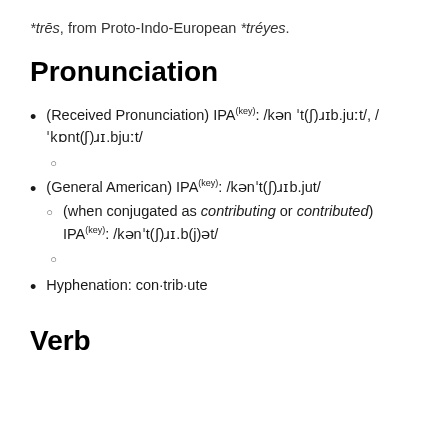*trēs, from Proto-Indo-European *tréyes.
Pronunciation
(Received Pronunciation) IPA(key): /kən ˈt(ʃ)ɹɪb.juːt/, /ˈkɒnt(ʃ)ɹɪ.bjuːt/
(General American) IPA(key): /kənˈt(ʃ)ɹɪb.jut/
(when conjugated as contributing or contributed) IPA(key): /kənˈt(ʃ)ɹɪ.b(j)ət/
Hyphenation: con·trib·ute
Verb